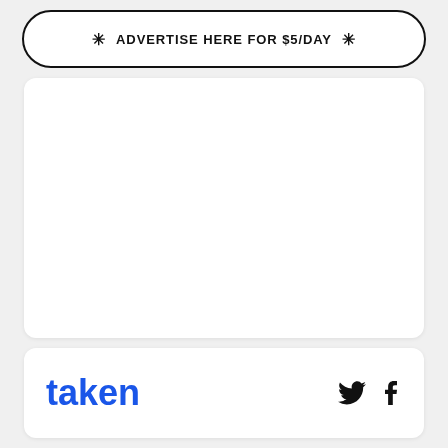✳ ADVERTISE HERE FOR $5/DAY ✳
[Figure (other): Large empty white card / content placeholder area]
taken
[Figure (other): Twitter and Facebook social media icons]